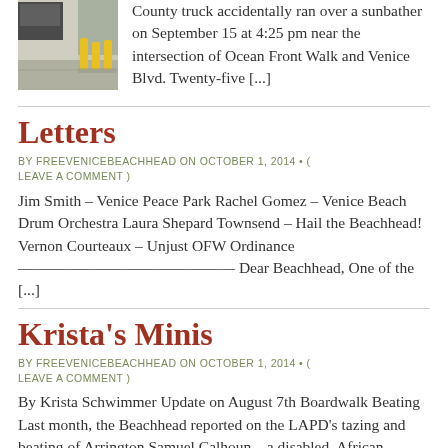[Figure (photo): Street photo showing yellow bollards on a sidewalk/street, with a vehicle partially visible in the background.]
County truck accidentally ran over a sunbather on September 15 at 4:25 pm near the intersection of Ocean Front Walk and Venice Blvd. Twenty-five [...]
Letters
BY FREEVENICEBEACHHEAD ON OCTOBER 1, 2014 • ( LEAVE A COMMENT )
Jim Smith – Venice Peace Park Rachel Gomez – Venice Beach Drum Orchestra Laura Shepard Townsend – Hail the Beachhead! Vernon Courteaux – Unjust OFW Ordinance —————————————— Dear Beachhead, One of the [...]
Krista's Minis
BY FREEVENICEBEACHHEAD ON OCTOBER 1, 2014 • ( LEAVE A COMMENT )
By Krista Schwimmer Update on August 7th Boardwalk Beating Last month, the Beachhead reported on the LAPD's tazing and beating of Arrington Samuel Calhoun – a disabled, African-American, homeless man who had [...]